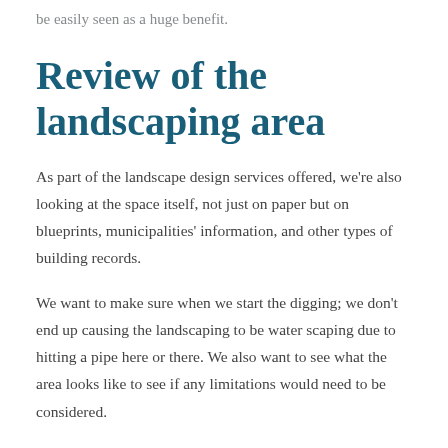be easily seen as a huge benefit.
Review of the landscaping area
As part of the landscape design services offered, we're also looking at the space itself, not just on paper but on blueprints, municipalities' information, and other types of building records.
We want to make sure when we start the digging; we don't end up causing the landscaping to be water scaping due to hitting a pipe here or there. We also want to see what the area looks like to see if any limitations would need to be considered.